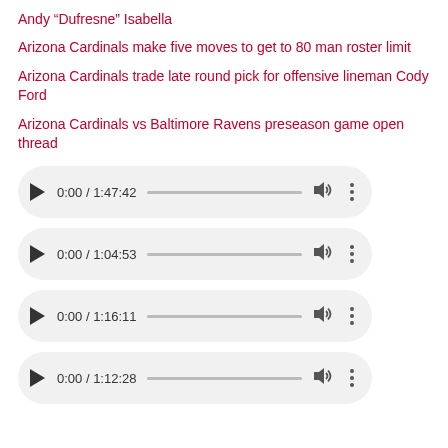Andy “Dufresne” Isabella
Arizona Cardinals make five moves to get to 80 man roster limit
Arizona Cardinals trade late round pick for offensive lineman Cody Ford
Arizona Cardinals vs Baltimore Ravens preseason game open thread
[Figure (other): Audio player 1, time 0:00 / 1:47:42]
[Figure (other): Audio player 2, time 0:00 / 1:04:53]
[Figure (other): Audio player 3, time 0:00 / 1:16:11]
[Figure (other): Audio player 4, time 0:00 / 1:12:28]